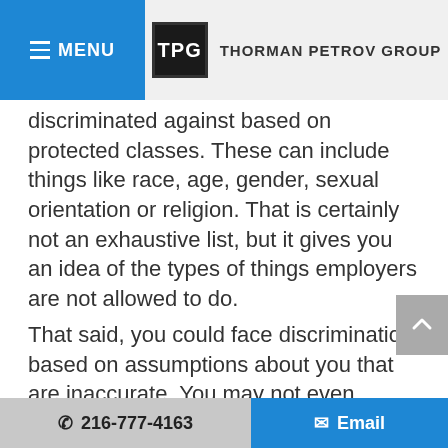MENU | TPG THORMAN PETROV GROUP
discriminated against based on protected classes. These can include things like race, age, gender, sexual orientation or religion. That is certainly not an exhaustive list, but it gives you an idea of the types of things employers are not allowed to do.

That said, you could face discrimination based on assumptions about you that are inaccurate. You may not even technically be in the protected class that is being referenced, but it is still illegal for an employer to
📞 216-777-4163    ✉ Email